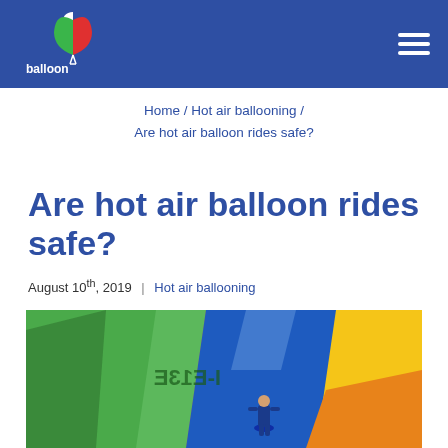balloon adventures italy
Home / Hot air ballooning / Are hot air balloon rides safe?
Are hot air balloon rides safe?
August 10th, 2019 | Hot air ballooning
[Figure (photo): A person walking inside a large deflated hot air balloon envelope laid out on the ground, showing green, blue, yellow and orange panels with text markings visible mirrored on the fabric.]